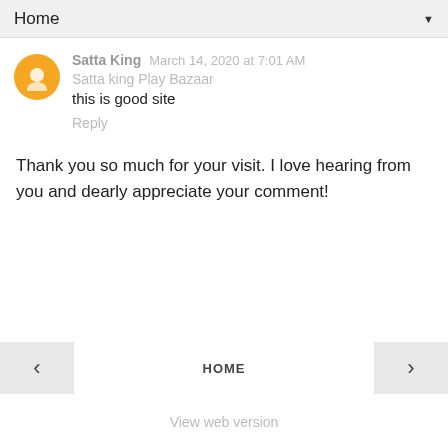Home ▼
Satta King  March 14, 2020 at 7:01 AM
Satta king Play Bazaar
this is good site
Reply
Thank you so much for your visit. I love hearing from you and dearly appreciate your comment!
‹  HOME  ›
View web version